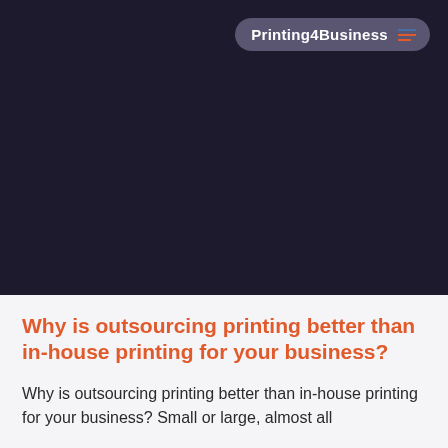[Figure (screenshot): Dark navy/purple header section of a website for Printing4Business]
Printing4Business
Why is outsourcing printing better than in-house printing for your business?
Why is outsourcing printing better than in-house printing for your business? Small or large, almost all